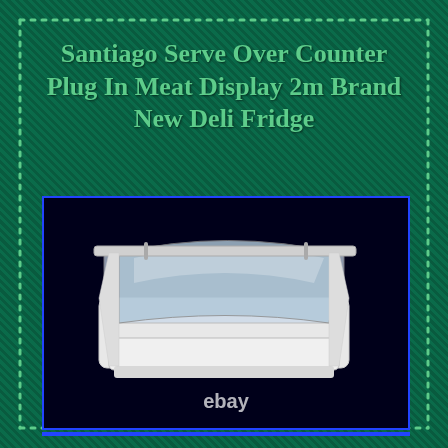Santiago Serve Over Counter Plug In Meat Display 2m Brand New Deli Fridge
[Figure (photo): Product photo of a white deli serve-over counter refrigerator display unit with curved glass front, shown on a dark background. The eBay watermark appears at the bottom of the image.]
[Figure (engineering-diagram): Technical/engineering blueprint drawing of the deli fridge unit on a black background, showing dimensions and cross-section views in blue lines.]